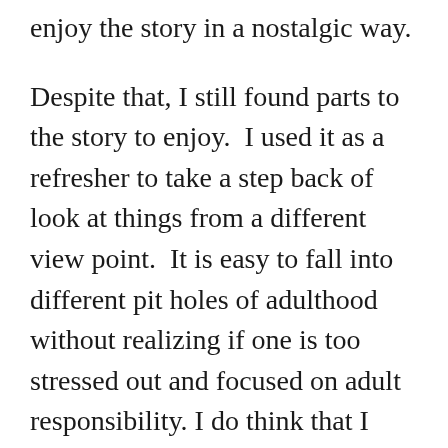enjoy the story in a nostalgic way.
Despite that, I still found parts to the story to enjoy.  I used it as a refresher to take a step back of look at things from a different view point.  It is easy to fall into different pit holes of adulthood without realizing if one is too stressed out and focused on adult responsibility. I do think that I was able to enjoy the story more then I normally would have due to the fact that I had previously read 𝅘𝅥𝅘󠁨󠁩󠁤󠁤󠁥󠁮🄼🄽🄾🄿🄰🄱. I think that these two novels together are a great pair and it might even have been fun to have read them both together at the same time.